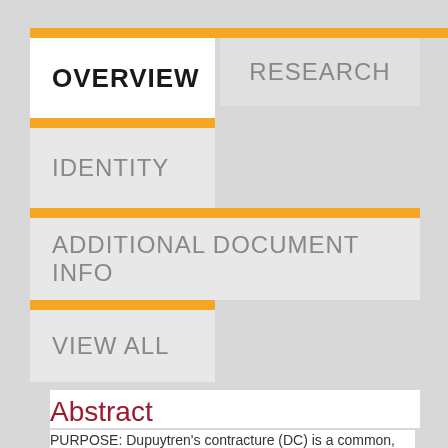OVERVIEW
RESEARCH
IDENTITY
ADDITIONAL DOCUMENT INFO
VIEW ALL
Abstract
PURPOSE: Dupuytren's contracture (DC) is a common, benign, progressive condition. Patterns of involvement of the ulnar side of the hand, specifically the involvement of the